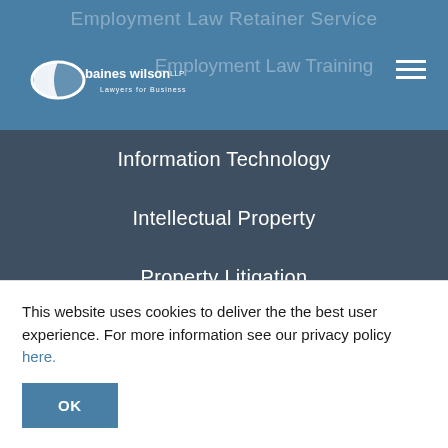[Figure (logo): Baines Wilson LLP logo - white ellipse/swoosh with text 'baines wilson LLP' and tagline 'Lawyers for Business']
Employment Law Retainer Service
Employment Law Training
Information Technology
Intellectual Property
Property Litigation
Public Sector
Seminars
ABOUT US
This website uses cookies to deliver the the best user experience. For more information see our privacy policy here.
OK